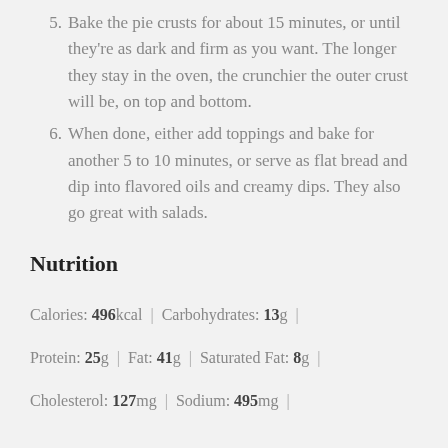5. Bake the pie crusts for about 15 minutes, or until they're as dark and firm as you want. The longer they stay in the oven, the crunchier the outer crust will be, on top and bottom.
6. When done, either add toppings and bake for another 5 to 10 minutes, or serve as flat bread and dip into flavored oils and creamy dips. They also go great with salads.
Nutrition
Calories: 496kcal | Carbohydrates: 13g | Protein: 25g | Fat: 41g | Saturated Fat: 8g | Cholesterol: 127mg | Sodium: 495mg |